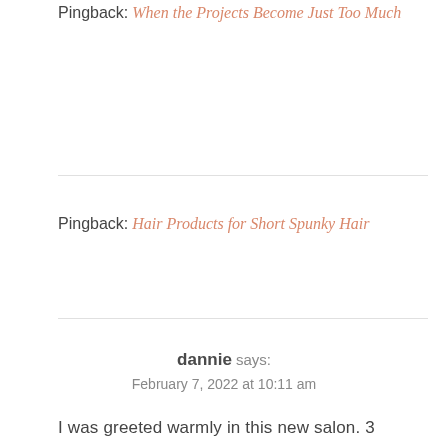Pingback: When the Projects Become Just Too Much
Pingback: Hair Products for Short Spunky Hair
dannie says:
February 7, 2022 at 10:11 am
I was greeted warmly in this new salon. 3 Women gathered around my chair as I sat